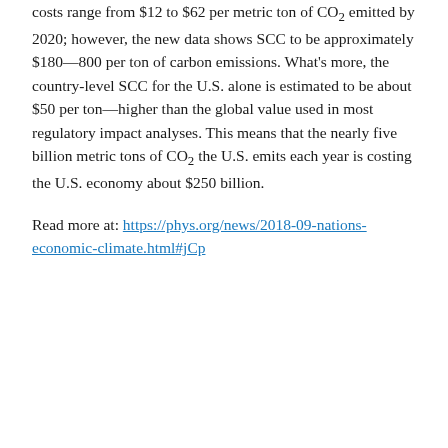costs range from $12 to $62 per metric ton of CO₂ emitted by 2020; however, the new data shows SCC to be approximately $180—800 per ton of carbon emissions. What's more, the country-level SCC for the U.S. alone is estimated to be about $50 per ton—higher than the global value used in most regulatory impact analyses. This means that the nearly five billion metric tons of CO₂ the U.S. emits each year is costing the U.S. economy about $250 billion.
Read more at: https://phys.org/news/2018-09-nations-economic-climate.html#jCp